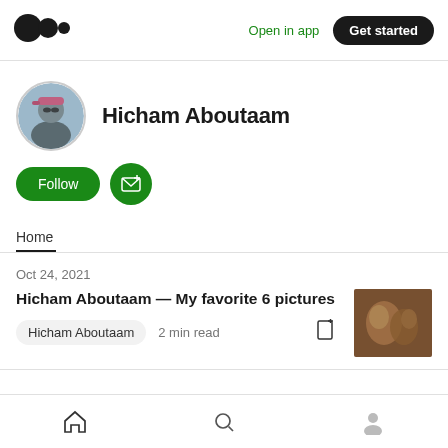Medium logo | Open in app | Get started
[Figure (photo): Medium logo - two circles icon in black]
Open in app
Get started
[Figure (photo): Profile photo of Hicham Aboutaam - person wearing sunglasses and pink hat]
Hicham Aboutaam
Follow
Home
Oct 24, 2021
Hicham Aboutaam — My favorite 6 pictures
Hicham Aboutaam  2 min read
[Figure (photo): Thumbnail painting showing classical figures, dark tones]
Home | Search | Profile navigation icons